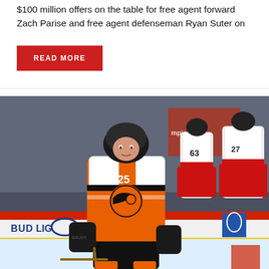$100 million offers on the table for free agent forward Zach Parise and free agent defenseman Ryan Suter on
READ MORE
[Figure (photo): Hockey player wearing Philadelphia Flyers orange and white jersey number 25 in a crouched stance on ice, with New Jersey Devils players in white jerseys with red trim visible in the background. Bud Light rink boards visible.]